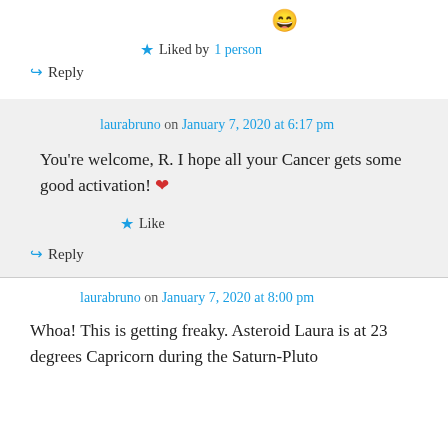[Figure (illustration): Grinning face emoji]
★ Liked by 1 person
↪ Reply
laurabruno on January 7, 2020 at 6:17 pm
You're welcome, R. I hope all your Cancer gets some good activation! ❤
★ Like
↪ Reply
laurabruno on January 7, 2020 at 8:00 pm
Whoa! This is getting freaky. Asteroid Laura is at 23 degrees Capricorn during the Saturn-Pluto